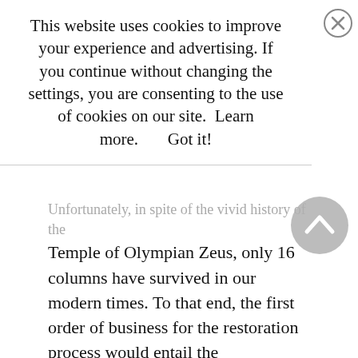This website uses cookies to improve your experience and advertising. If you continue without changing the settings, you are consenting to the use of cookies on our site.  Learn more.       Got it!
Unfortunately, in spite of the vivid history of the Temple of Olympian Zeus, only 16 columns have survived in our modern times. To that end, the first order of business for the restoration process would entail the reinforcement of these Corinthian-style specimens that would ensure their structural stability. And lastly, this preliminary step would be followed by the maintenance of the existing marble segments.
[Figure (photo): Photograph of a classical Greek or Roman temple with white columns and pediment against a blue sky, viewed from below at an angle.]